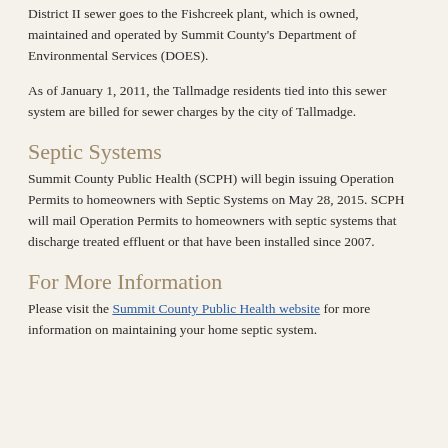District II sewer goes to the Fishcreek plant, which is owned, maintained and operated by Summit County's Department of Environmental Services (DOES).
As of January 1, 2011, the Tallmadge residents tied into this sewer system are billed for sewer charges by the city of Tallmadge.
Septic Systems
Summit County Public Health (SCPH) will begin issuing Operation Permits to homeowners with Septic Systems on May 28, 2015. SCPH will mail Operation Permits to homeowners with septic systems that discharge treated effluent or that have been installed since 2007.
For More Information
Please visit the Summit County Public Health website for more information on maintaining your home septic system.